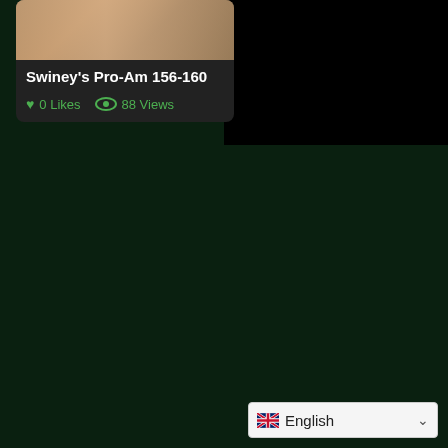[Figure (screenshot): A video thumbnail card with a blurred/cropped image at top showing warm skin tones, title 'Swiney's Pro-Am 156-160', and metadata showing 0 Likes and 88 Views in green text with icons, on a dark background card. The right portion and most of the page is a dark green background (#0a2010). The top-right quadrant is black. A language selector showing a UK flag and 'English' with a dropdown chevron appears at the bottom right.]
Swiney's Pro-Am 156-160
0 Likes  88 Views
English